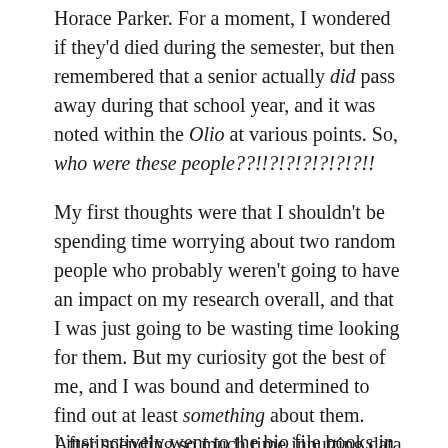Horace Parker. For a moment, I wondered if they'd died during the semester, but then remembered that a senior actually did pass away during that school year, and it was noted within the Olio at various points. So, who were these people??!!?!?!?!?!?!?!!
My first thoughts were that I shouldn't be spending time worrying about two random people who probably weren't going to have an impact on my research overall, and that I was just going to be wasting time looking for them. But my curiosity got the best of me, and I was bound and determined to find out at least something about them. After spending so much time inputting data about everyone else, I felt that I owed it to Josiah and Henry to at least acknowledge more about their existence than I was able to from the 1861 Olio.
I instinctively went to the bio file books in the little